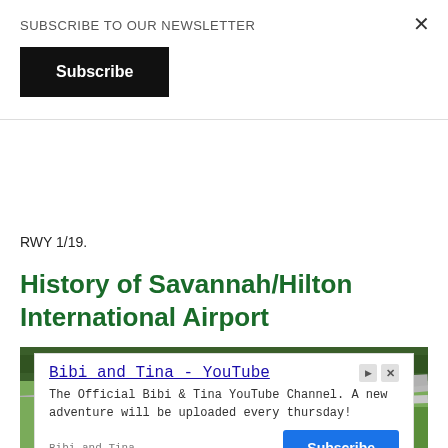SUBSCRIBE TO OUR NEWSLETTER
Subscribe
RWY 1/19.
History of Savannah/Hilton International Airport
[Figure (photo): Aerial view of Savannah/Hilton Head International Airport showing runways, taxiways, green grass areas, terminal buildings and parking lots]
[Figure (screenshot): Advertisement banner for Bibi and Tina YouTube channel with blue Subscribe button]